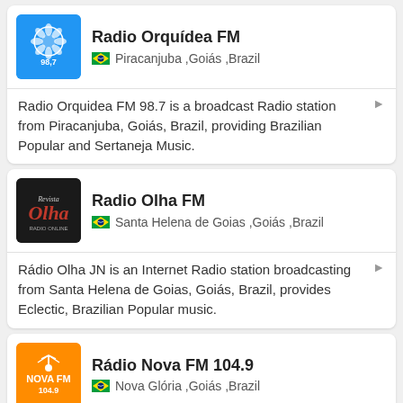Radio Orquídea FM
Piracanjuba ,Goiás ,Brazil
Radio Orquidea FM 98.7 is a broadcast Radio station from Piracanjuba, Goiás, Brazil, providing Brazilian Popular and Sertaneja Music.
Radio Olha FM
Santa Helena de Goias ,Goiás ,Brazil
Rádio Olha JN is an Internet Radio station broadcasting from Santa Helena de Goias, Goiás, Brazil, provides Eclectic, Brazilian Popular music.
Rádio Nova FM 104.9
Nova Glória ,Goiás ,Brazil
Rádio Nova FM 104.9 is a broadcast Radio station from Nova Glória, Brazil, provides Sertanejo, Pop,